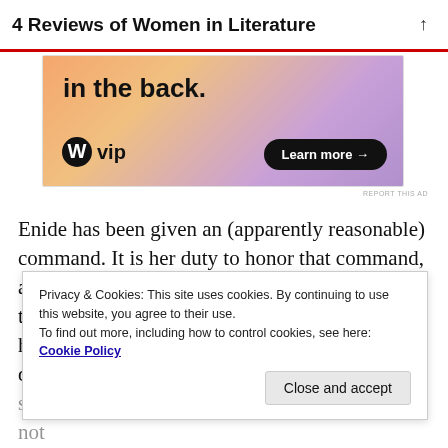4 Reviews of Women in Literature
[Figure (other): WordPress VIP advertisement banner with text 'in the back.' on gradient background, WordPress logo and 'vip' text, and 'Learn more →' button]
Enide has been given an (apparently reasonable) command. It is her duty to honor that command, and in doing so, honor her husband. At the same time, his life is in danger, and only she can save him. Enide is supposed to be facing a moral dilemma! And she she tips him on to.) She does this multiple times, not
Privacy & Cookies: This site uses cookies. By continuing to use this website, you agree to their use.
To find out more, including how to control cookies, see here: Cookie Policy